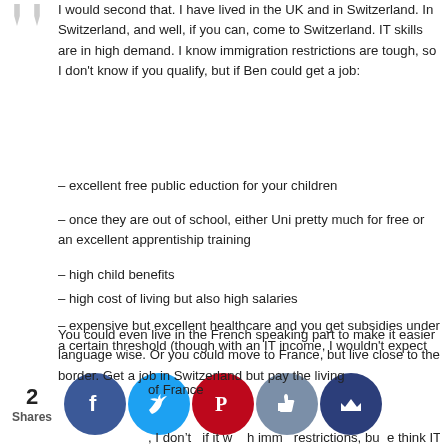I would second that. I have lived in the UK and in Switzerland. In Switzerland, and well, if you can, come to Switzerland. IT skills are in high demand. I know immigration restrictions are tough, so I don't know if you qualify, but if Ben could get a job:
– excellent free public eduction for your children
– once they are out of school, either Uni pretty much for free or an excellent apprentiship training
– high child benefits
– high cost of living but also high salaries
– expensive but excellent healthcare and you get subsidies under a certain threshold (though with an IT income, I wouldn't expect you need it)
–very stable economy
– (at least compared to the UK) no worries about your pension
You could even live in the French speaking part to make it easier language wise. Or you could move to France, but live close to the border. Get a job in Switzerland but pay the living
of France
, I don't if it w  h imm  restrictions, bu  e think IT do   on up   as it is in